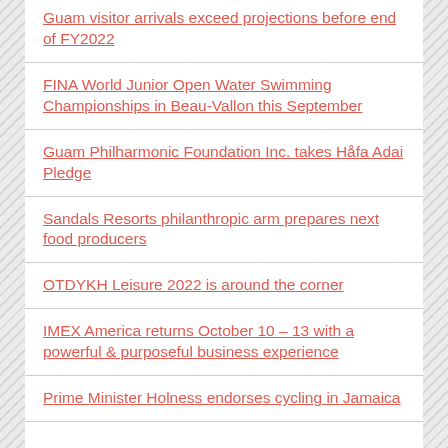Guam visitor arrivals exceed projections before end of FY2022
FINA World Junior Open Water Swimming Championships in Beau-Vallon this September
Guam Philharmonic Foundation Inc. takes Håfa Adai Pledge
Sandals Resorts philanthropic arm prepares next food producers
OTDYKH Leisure 2022 is around the corner
IMEX America returns October 10 – 13 with a powerful & purposeful business experience
Prime Minister Holness endorses cycling in Jamaica